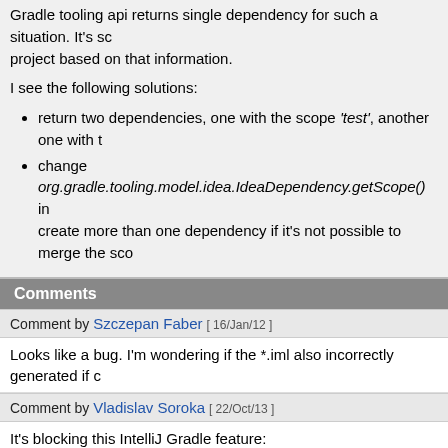Gradle tooling api returns single dependency for such a situation. It's so project based on that information.
I see the following solutions:
return two dependencies, one with the scope 'test', another one with t
change org.gradle.tooling.model.idea.IdeaDependency.getScope() in create more than one dependency if it's not possible to merge the sco
Comments
Comment by Szczepan Faber [ 16/Jan/12 ]
Looks like a bug. I'm wondering if the *.iml also incorrectly generated if c
Comment by Vladislav Soroka [ 22/Oct/13 ]
It's blocking this IntelliJ Gradle feature: http://youtrack.jetbrains.com/issu
Comment by Radim Kubacki [ 21/Feb/14 ]
I'm going to take a look how to fix this. Just to make sure what we want t assuming there is a Gradle project with dependencies like
dependencies {
  compile project(':api')
  testCompile project(':impl'), 'junit:junit:4.11/